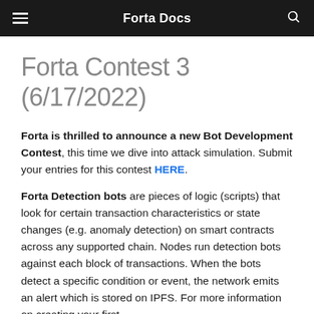Forta Docs
Forta Contest 3 (6/17/2022)
Forta is thrilled to announce a new Bot Development Contest, this time we dive into attack simulation. Submit your entries for this contest HERE.
Forta Detection bots are pieces of logic (scripts) that look for certain transaction characteristics or state changes (e.g. anomaly detection) on smart contracts across any supported chain. Nodes run detection bots against each block of transactions. When the bots detect a specific condition or event, the network emits an alert which is stored on IPFS. For more information on creating your first